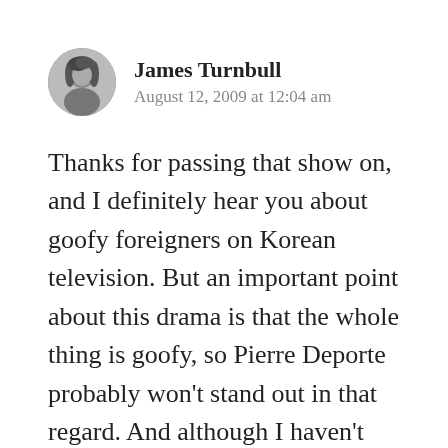[Figure (photo): Circular avatar photo of a person, black and white]
James Turnbull
August 12, 2009 at 12:04 am
Thanks for passing that show on, and I definitely hear you about goofy foreigners on Korean television. But an important point about this drama is that the whole thing is goofy, so Pierre Deporte probably won't stand out in that regard. And although I haven't watched it myself yet